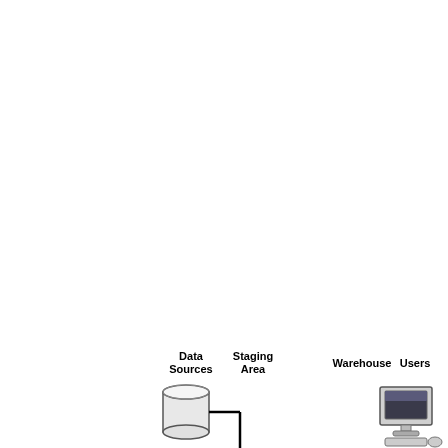[Figure (schematic): Data warehouse architecture diagram showing Data Sources (cylinder/database icon), Staging Area, Warehouse, and Users (computer monitor icon) with connecting arrows. Only the bottom portion of the diagram is visible, showing labels and the tops of the icons.]